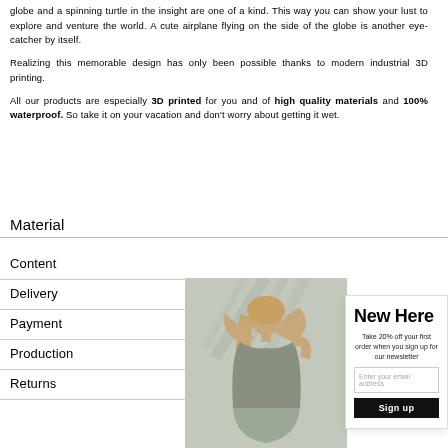globe and a spinning turtle in the insight are one of a kind. This way you can show your lust to explore and venture the world. A cute airplane flying on the side of the globe is another eye-catcher by itself.
Realizing this memorable design has only been possible thanks to modern industrial 3D printing.
All our products are especially 3D printed for you and of high quality materials and 100% waterproof. So take it on your vacation and don't worry about getting it wet.
Material
Content
Delivery
Payment
Production
Returns
[Figure (photo): Fashion photo of a blonde woman posing with hand on head, wearing a grey outfit, with palm leaf shadow background]
New Here
Take 20% off your first order when you sign up for our newsletter